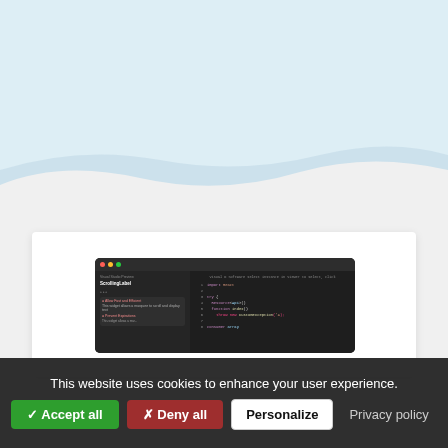[Figure (screenshot): Website screenshot showing a dark-themed code editor with a sidebar and code panel, displayed within a light blue and white decorative background with wave shapes]
This website uses cookies to enhance your user experience.
✓ Accept all
✗ Deny all
Personalize
Privacy policy